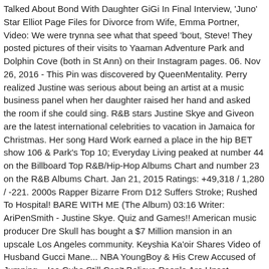Talked About Bond With Daughter GiGi In Final Interview, 'Juno' Star Elliot Page Files for Divorce from Wife, Emma Portner, Video: We were trynna see what that speed 'bout, Steve! They posted pictures of their visits to Yaaman Adventure Park and Dolphin Cove (both in St Ann) on their Instagram pages. 06. Nov 26, 2016 - This Pin was discovered by QueenMentality. Perry realized Justine was serious about being an artist at a music business panel when her daughter raised her hand and asked the room if she could sing. R&B stars Justine Skye and Giveon are the latest international celebrities to vacation in Jamaica for Christmas. Her song Hard Work earned a place in the hip BET show 106 & Park's Top 10; Everyday Living peaked at number 44 on the Billboard Top R&B/Hip-Hop Albums Chart and number 23 on the R&B Albums Chart. Jan 21, 2015 Ratings: +49,318 / 1,280 / -221. 2000s Rapper Bizarre From D12 Suffers Stroke; Rushed To Hospital! BARE WITH ME (The Album) 03:16 Writer: AriPenSmith - Justine Skye. Quiz and Games!! American music producer Dre Skull has bought a $7 Million mansion in an upscale Los Angeles community. Keyshia Ka'oir Shares Video of Husband Gucci Mane... NBA YoungBoy & His Crew Accused of Jumping... Ice Cube Still Can't Believe People Are Upset... University of Wisconsin Moves Ahead with Plan to... TSRBaeWatch: It's good to see LondonOnDaTrack and SummerWalker... Asian Doll Arrested & Jailed In Atlanta. Sande...